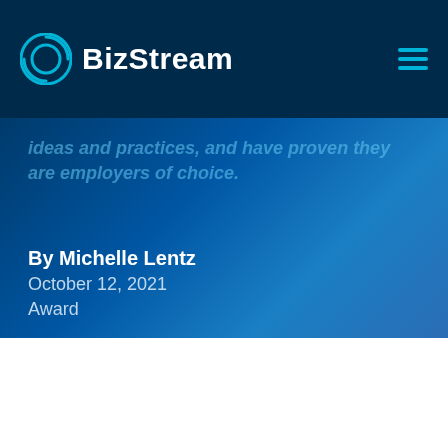BizStream
ideas and practices, and have proven they are employers of choice.
By Michelle Lentz
October 12, 2021
Award